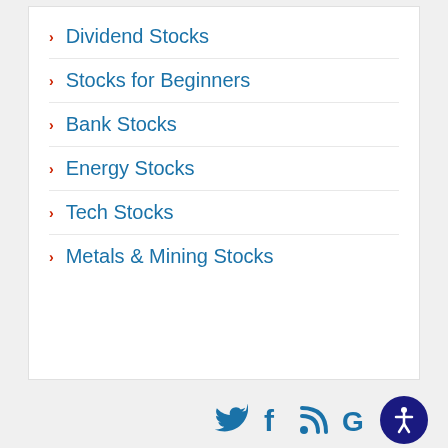Dividend Stocks
Stocks for Beginners
Bank Stocks
Energy Stocks
Tech Stocks
Metals & Mining Stocks
[Figure (infographic): Social media icons: Twitter bird, Facebook f, RSS feed, Google G, and accessibility icon (person in circle) in dark navy blue circle]